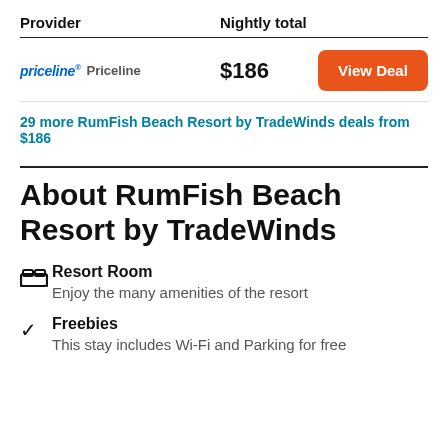| Provider | Nightly total |  |
| --- | --- | --- |
| priceline® Priceline | $186 | View Deal |
29 more RumFish Beach Resort by TradeWinds deals from $186
About RumFish Beach Resort by TradeWinds
Resort Room — Enjoy the many amenities of the resort
Freebies — This stay includes Wi-Fi and Parking for free